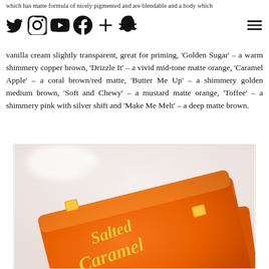social media navigation bar with icons: Twitter, Instagram, YouTube, Facebook, Plus, Snapchat, and hamburger menu
vanilla cream slightly transparent, great for priming, ‘Golden Sugar’ – a warm shimmery copper brown, ‘Drizzle It’ – a vivid mid-tone matte orange, ‘Caramel Apple’ – a coral brown/red matte, ‘Butter Me Up’ – a shimmery golden medium brown, ‘Soft and Chewy’ – a mustard matte orange, ‘Toffee’ – a shimmery pink with silver shift and ‘Make Me Melt’ – a deep matte brown.
[Figure (photo): Close-up photo of an orange eyeshadow palette with 'Salted Caramel' written in gold script lettering on the lid, with caramel candy decorations.]